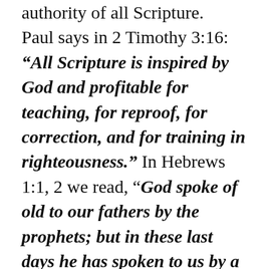authority of all Scripture. Paul says in 2 Timothy 3:16: “All Scripture is inspired by God and profitable for teaching, for reproof, for correction, and for training in righteousness.” In Hebrews 1:1, 2 we read, “God spoke of old to our fathers by the prophets; but in these last days he has spoken to us by a